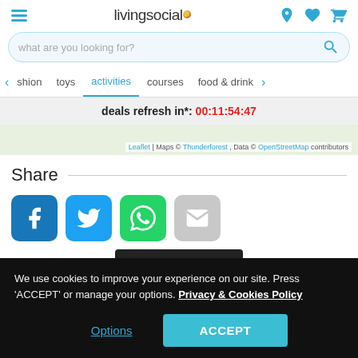livingsocial
what are you looking for?
fashion  toys  activities  courses  food & drink
deals refresh in*: 00:11:54:47
Leaflet | Maps © Thunderforest, Data © OpenStreetMap contributors
Share
We use cookies to improve your experience on our site. Press 'ACCEPT' or manage your options. Privacy & Cookies Policy
Options  ACCEPT